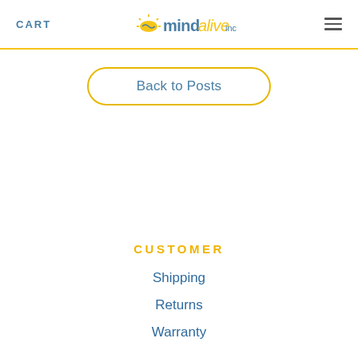CART | mindalive inc | [hamburger menu]
Back to Posts
CUSTOMER
Shipping
Returns
Warranty